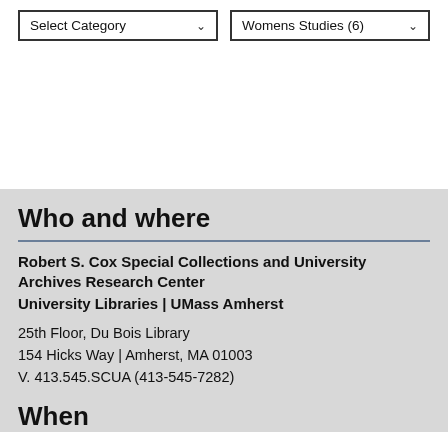Select Category
Womens Studies (6)
Who and where
Robert S. Cox Special Collections and University Archives Research Center
University Libraries | UMass Amherst
25th Floor, Du Bois Library
154 Hicks Way | Amherst, MA 01003
V. 413.545.SCUA (413-545-7282)
When